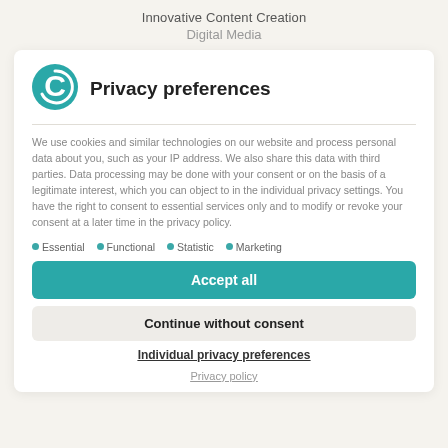Innovative Content Creation
Digital Media
Privacy preferences
We use cookies and similar technologies on our website and process personal data about you, such as your IP address. We also share this data with third parties. Data processing may be done with your consent or on the basis of a legitimate interest, which you can object to in the individual privacy settings. You have the right to consent to essential services only and to modify or revoke your consent at a later time in the privacy policy.
Essential
Functional
Statistic
Marketing
Accept all
Continue without consent
Individual privacy preferences
Privacy policy